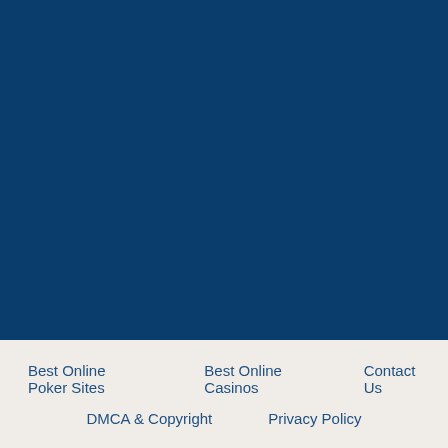[Figure (other): Solid dark navy blue background block filling the upper portion of the page]
Best Online Poker Sites   Best Online Casinos   Contact Us   DMCA & Copyright   Privacy Policy